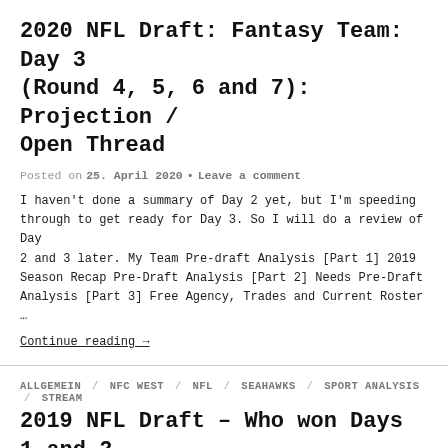2020 NFL Draft: Fantasy Team: Day 3 (Round 4, 5, 6 and 7): Projection / Open Thread
Posted on 25. April 2020 • Leave a comment
I haven't done a summary of Day 2 yet, but I'm speeding through to get ready for Day 3. So I will do a review of Day 2 and 3 later. My Team Pre-draft Analysis [Part 1] 2019 Season Recap Pre-Draft Analysis [Part 2] Needs Pre-Draft Analysis [Part 3] Free Agency, Trades and Current Roster …
Continue reading →
ALLGEMEIN / NFC WEST / NFL / SEAHAWKS / SPORT ANALYSIS / STREAM
2019 NFL Draft – Who won Days 1 and 2 (with notes on day 3)
Posted on 4. May 2019 • Leave a comment
I don't think that assessing 1 round is enough so 2 days gives us more of an option to assess. I unfortunately I feel like there is not enough teams who dominated Day 3 to do a